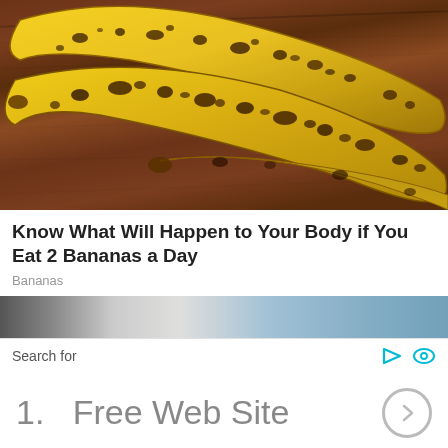[Figure (photo): Three overripe bananas with dark brown spots sitting on a dark brown wooden surface]
Know What Will Happen to Your Body if You Eat 2 Bananas a Day
Bananas
[Figure (photo): Partial view of a second article image strip]
Search for
1.  Free Web Site